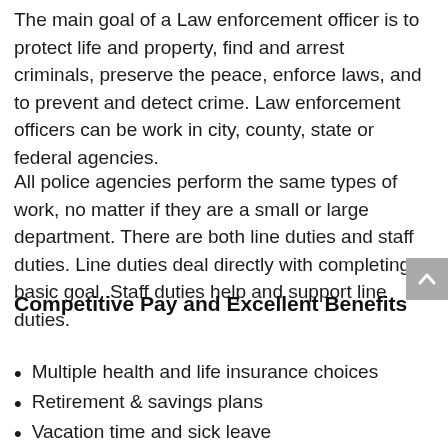The main goal of a Law enforcement officer is to protect life and property, find and arrest criminals, preserve the peace, enforce laws, and to prevent and detect crime. Law enforcement officers can be work in city, county, state or federal agencies.
All police agencies perform the same types of work, no matter if they are a small or large department. There are both line duties and staff duties. Line duties deal directly with completing a basic goal. Staff duties help and support line duties.
Competitive Pay and Excellent Benefits
Multiple health and life insurance choices
Retirement & savings plans
Vacation time and sick leave